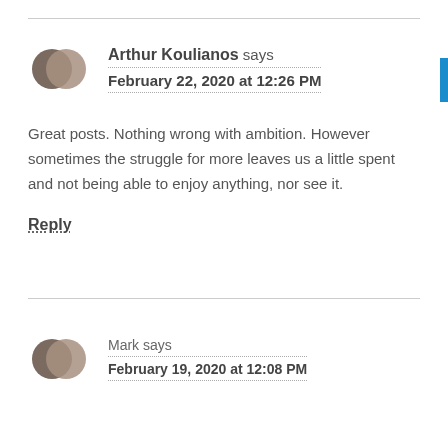Arthur Koulianos says
February 22, 2020 at 12:26 PM
Great posts. Nothing wrong with ambition. However sometimes the struggle for more leaves us a little spent and not being able to enjoy anything, nor see it.
Reply
Mark says
February 19, 2020 at 12:08 PM